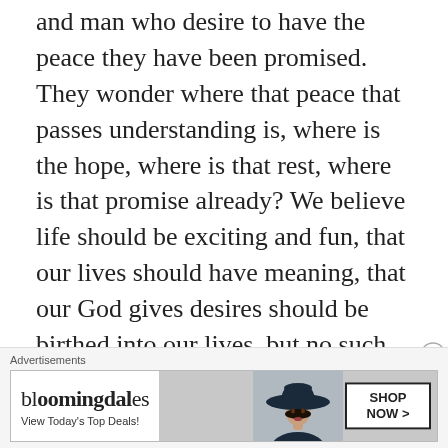and man who desire to have the peace they have been promised. They wonder where that peace that passes understanding is, where is the hope, where is that rest, where is that promise already? We believe life should be exciting and fun, that our lives should have meaning, that our God gives desires should be birthed into our lives, but no such life is found.
So, like those who cannot physically give birth who go to specialists in this area. Most men
Advertisements
[Figure (other): Bloomingdale's advertisement banner with logo, 'View Today's Top Deals!' text, a woman wearing a wide-brim hat, and a 'SHOP NOW >' button.]